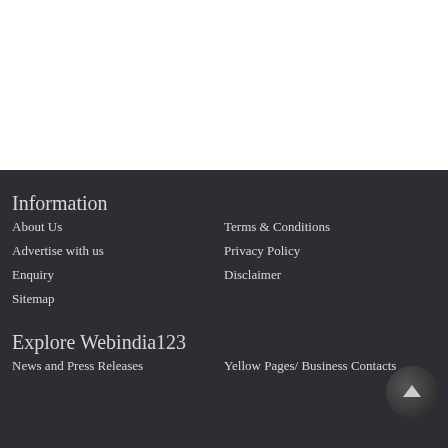Information
About Us
Terms & Conditions
Advertise with us
Privacy Policy
Enquiry
Disclaimer
Sitemap
Explore Webindia123
News and Press Releases
Yellow Pages/ Business Contacts